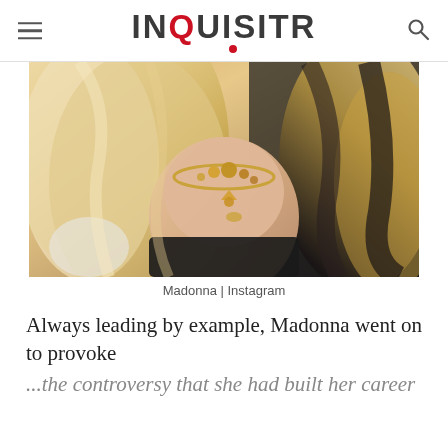INQUISITR
[Figure (photo): Close-up photo of a blonde woman wearing a gold statement necklace, cropped from neck down, against a dark background. Source: Madonna | Instagram.]
Madonna | Instagram
Always leading by example, Madonna went on to provoke ...